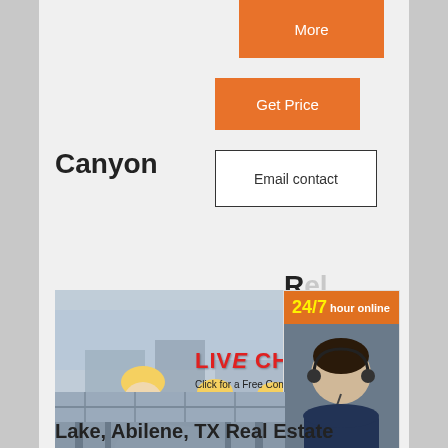More
Get Price
Email contact
Canyon
R...
[Figure (photo): Live chat banner with workers in yellow hard hats, LIVE CHAT overlay text, Chat now and Chat later buttons, and 24/7 hour online agent sidebar with Click to chat button]
Enquiry
superbrian707@gmail.com
[Figure (photo): Industrial facility interior with large cylindrical machinery/conveyor equipment]
Lake, Abilene, TX Real Estate